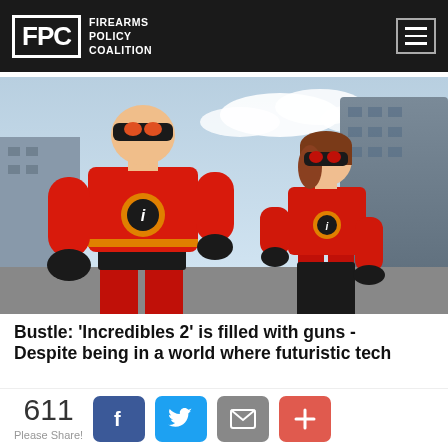FPC FIREARMS POLICY COALITION
[Figure (photo): Scene from Incredibles 2 animated film showing Mr. Incredible (large muscular man in red suit with black mask) and Elastigirl (woman in red suit with black mask) in an action pose against a cityscape background.]
Bustle: 'Incredibles 2' is filled with guns - Despite being in a world where futuristic tech
611 Please Share!